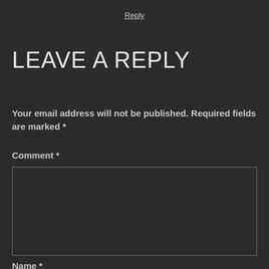Reply
LEAVE A REPLY
Your email address will not be published. Required fields are marked *
Comment *
Name *